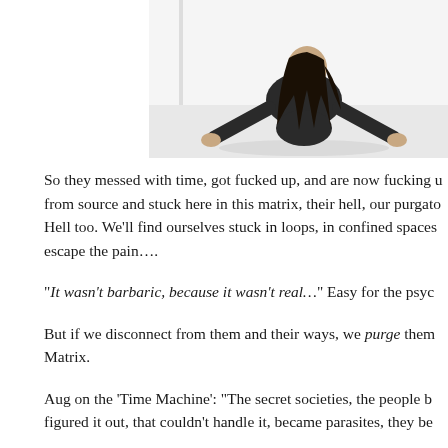[Figure (photo): A woman with long dark hair dressed in black, crouching low on a white floor in a white room, photographed from a slightly elevated angle.]
So they messed with time, got fucked up, and are now fucking u from source and stuck here in this matrix, their hell, our purgato Hell too. We'll find ourselves stuck in loops, in confined spaces escape the pain….
“It wasn’t barbaric, because it wasn’t real…” Easy for the psyc
But if we disconnect from them and their ways, we purge them Matrix.
Aug on the ‘Time Machine’: “The secret societies, the people b figured it out, that couldn’t handle it, became parasites, they be